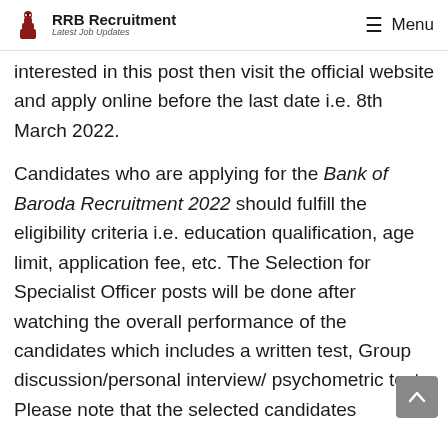RRB Recruitment Latest Job Updates | Menu
interested in this post then visit the official website and apply online before the last date i.e. 8th March 2022.
Candidates who are applying for the Bank of Baroda Recruitment 2022 should fulfill the eligibility criteria i.e. education qualification, age limit, application fee, etc. The Selection for Specialist Officer posts will be done after watching the overall performance of the candidates which includes a written test, Group discussion/personal interview/ psychometric test. Please note that the selected candidates